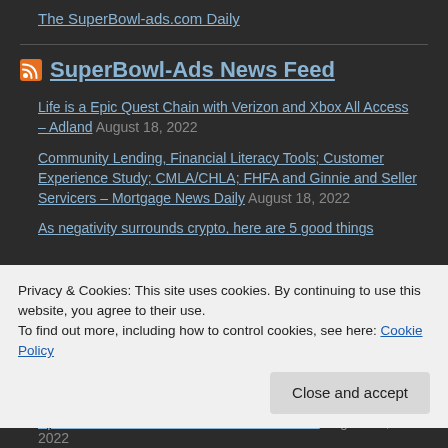The SuperBowl-ads.com Daily
SuperBowl-Ads News Feed
Life is a Epic Quest Chain with Verizon and Xbox All Access – Adland August 18, 2022
Community Lending, Financial Literacy Tools; Customer Experience Study; CMLA/CHLA; FHFA and Ginnie and Seller Servicers – Mortgage News Daily August 18, 2022
As negativity surrounds crypto, here are 5 good things
Privacy & Cookies: This site uses cookies. By continuing to use this website, you agree to their use.
To find out more, including how to control cookies, see here: Cookie Policy
Close and accept
Spend Games Back to Earth – PYMNTS.com August 18, 2022